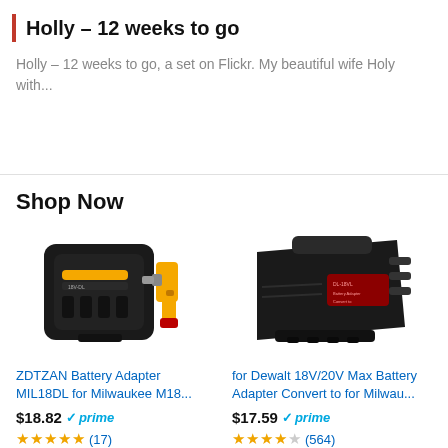Holly – 12 weeks to go
Holly – 12 weeks to go, a set on Flickr. My beautiful wife Holy with...
Shop Now
[Figure (photo): ZDTZAN Battery Adapter product image showing a black battery adapter and a yellow power drill]
ZDTZAN Battery Adapter MIL18DL for Milwaukee M18...
$18.82 ✓prime
★★★★☆ (17)
[Figure (photo): Battery adapter for Dewalt 18V/20V Max, black plastic adapter device]
for Dewalt 18V/20V Max Battery Adapter Convert to for Milwau...
$17.59 ✓prime
★★★★☆ (564)